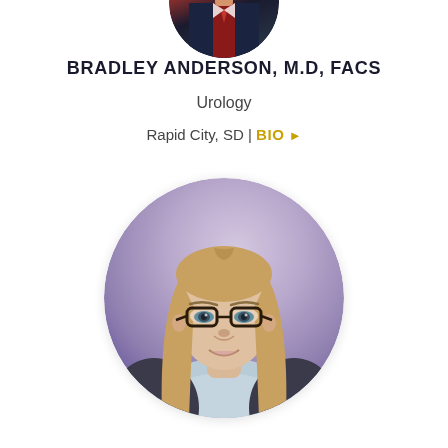[Figure (photo): Circular cropped headshot of Bradley Anderson, M.D., FACS - partially visible at top of page, showing suit and tie]
BRADLEY ANDERSON, M.D, FACS
Urology
Rapid City, SD | BIO ▶
[Figure (photo): Circular headshot photo of a woman with long straight blonde hair, glasses, wearing a light blue shirt, smiling, with a purple/lavender blurred background]